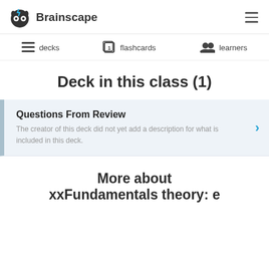Brainscape
decks   flashcards   learners
Deck in this class (1)
Questions From Review
The creator of this deck did not yet add a description for what is included in this deck.
More about xxFundamentals theory: e